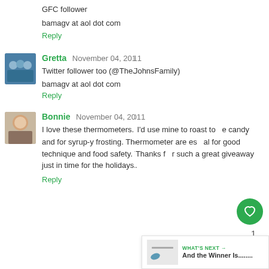GFC follower
bamagv at aol dot com
Reply
Gretta  November 04, 2011
Twitter follower too (@TheJohnsFamily)
bamagv at aol dot com
Reply
Bonnie  November 04, 2011
I love these thermometers. I'd use mine to roast to... candy and for syrup-y frosting. Thermometer are es...al for good technique and food safety. Thanks f... such a great giveaway just in time for the holidays.
Reply